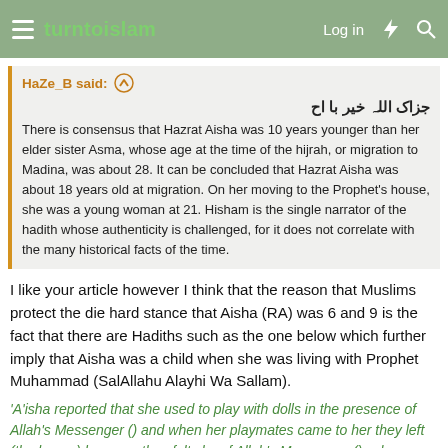turntoislam — Log in
HaZe_B said:
جزاک اللہ خیر با اح
There is consensus that Hazrat Aisha was 10 years younger than her elder sister Asma, whose age at the time of the hijrah, or migration to Madina, was about 28. It can be concluded that Hazrat Aisha was about 18 years old at migration. On her moving to the Prophet's house, she was a young woman at 21. Hisham is the single narrator of the hadith whose authenticity is challenged, for it does not correlate with the many historical facts of the time.
I like your article however I think that the reason that Muslims protect the die hard stance that Aisha (RA) was 6 and 9 is the fact that there are Hadiths such as the one below which further imply that Aisha was a child when she was living with Prophet Muhammad (SalAllahu Alayhi Wa Sallam).
'A'isha reported that she used to play with dolls in the presence of Allah's Messenger () and when her playmates came to her they left (the house) because they felt shy of Allah's Messenger (), whereas Allah's